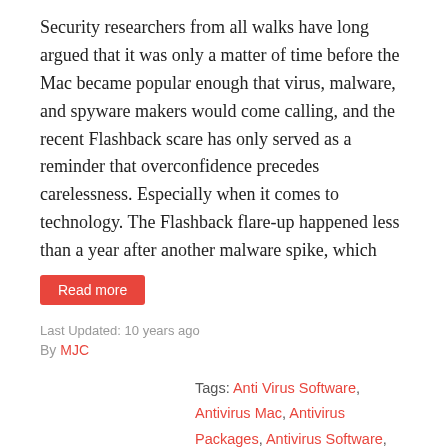Security researchers from all walks have long argued that it was only a matter of time before the Mac became popular enough that virus, malware, and spyware makers would come calling, and the recent Flashback scare has only served as a reminder that overconfidence precedes carelessness. Especially when it comes to technology. The Flashback flare-up happened less than a year after another malware spike, which
Read more
Last Updated: 10 years ago
By MJC
Tags: Anti Virus Software, Antivirus Mac, Antivirus Packages, Antivirus Software, Attacker, Carelessness, Flare, Flashback, Invulnerability, Kaspersky Lab, Mac Market, Mac